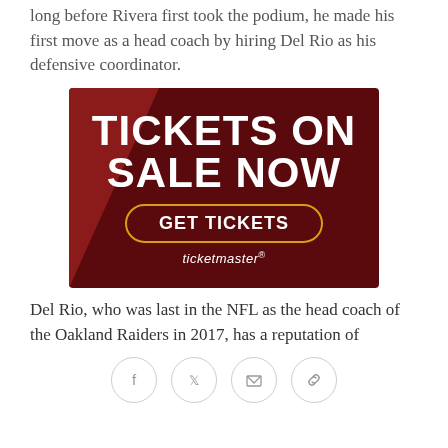long before Rivera first took the podium, he made his first move as a head coach by hiring Del Rio as his defensive coordinator.
[Figure (advertisement): Ticketmaster advertisement with dark red background, bold white text reading TICKETS ON SALE NOW, a gold-bordered button reading GET TICKETS, and ticketmaster logo at the bottom.]
Del Rio, who was last in the NFL as the head coach of the Oakland Raiders in 2017, has a reputation of
[Figure (other): Social sharing icons: Facebook, Twitter, email, and link icons in circular outlines.]